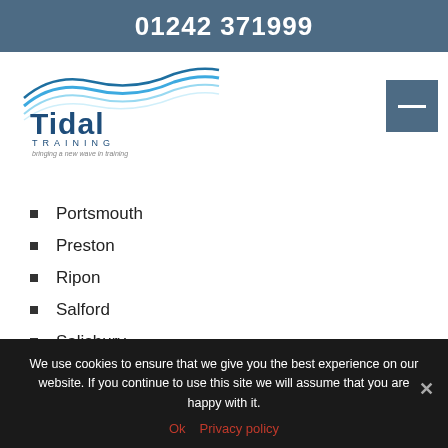01242 371999
[Figure (logo): Tidal Training logo with wave graphic and tagline 'bringing a new wave in training']
Portsmouth
Preston
Ripon
Salford
Salisbury
Sheffield
We use cookies to ensure that we give you the best experience on our website. If you continue to use this site we will assume that you are happy with it.
Ok  Privacy policy